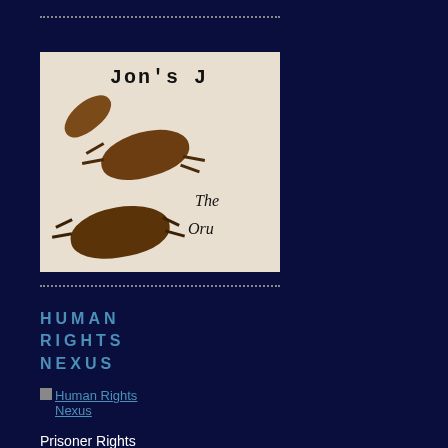[Figure (photo): Photo showing cockroaches on a white surface with handwritten text reading Jon's J and other cursive writing below]
HUMAN RIGHTS NEXUS
Human Rights Nexus (link with icon)
Prisoner Rights
COALITION FOR PRISONERS' RIGHTS NEWSLETTER